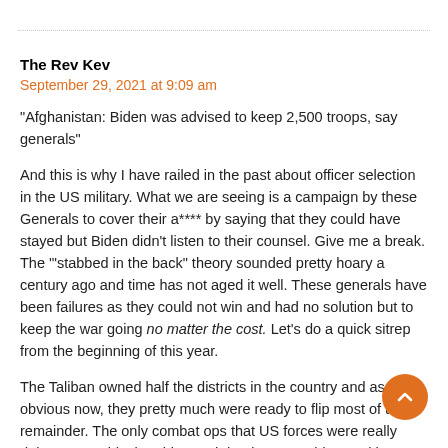The Rev Kev
September 29, 2021 at 9:09 am
“Afghanistan: Biden was advised to keep 2,500 troops, say generals”
And this is why I have railed in the past about officer selection in the US military. What we are seeing is a campaign by these Generals to cover their a**** by saying that they could have stayed but Biden didn't listen to their counsel. Give me a break. The ‘”stabbed in the back” theory sounded pretty hoary a century ago and time has not aged it well. These generals have been failures as they could not win and had no solution but to keep the war going no matter the cost. Let's do a quick sitrep from the beginning of this year.
The Taliban owned half the districts in the country and as is obvious now, they pretty much were ready to flip most of the remainder. The only combat ops that US forces were really doing were raids, bombing and droning to avoid casualties. Meanwhile the attrition rate of the Afghan military was to unsustainable and it was only a matter of time before they faded away. The Taliban was even able to put a crimp on the